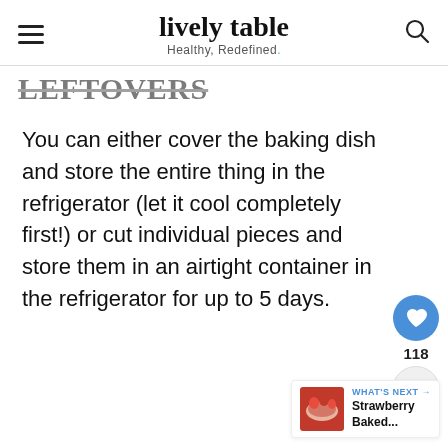lively table — Healthy, Redefined.
LEFTOVERS
You can either cover the baking dish and store the entire thing in the refrigerator (let it cool completely first!) or cut individual pieces and store them in an airtight container in the refrigerator for up to 5 days.